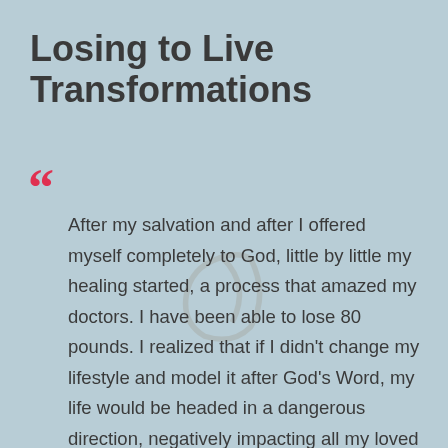Losing to Live Transformations
After my salvation and after I offered myself completely to God, little by little my healing started, a process that amazed my doctors. I have been able to lose 80 pounds. I realized that if I didn't change my lifestyle and model it after God's Word, my life would be headed in a dangerous direction, negatively impacting all my loved ones. So what helped me lose weight? The answer is the Losing to Live